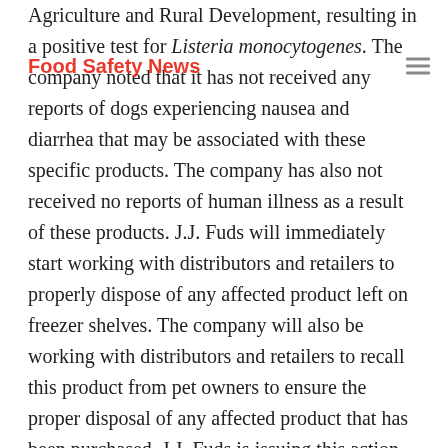Food Safety News
Agriculture and Rural Development, resulting in a positive test for Listeria monocytogenes. The company noted that it has not received any reports of dogs experiencing nausea and diarrhea that may be associated with these specific products. The company has also not received no reports of human illness as a result of these products. J.J. Fuds will immediately start working with distributors and retailers to properly dispose of any affected product left on freezer shelves. The company will also be working with distributors and retailers to recall this product from pet owners to ensure the proper disposal of any affected product that has been purchased. J.J. Fuds is issuing this action out of an abundance of caution and sincerely regrets any inconvenience to pet owners as a result of this announcement. The recalled product